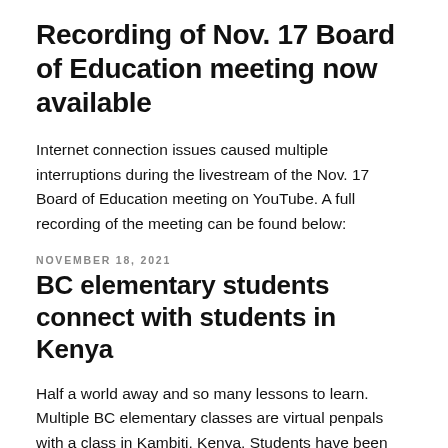Recording of Nov. 17 Board of Education meeting now available
Internet connection issues caused multiple interruptions during the livestream of the Nov. 17 Board of Education meeting on YouTube. A full recording of the meeting can be found below:
NOVEMBER 18, 2021
BC elementary students connect with students in Kenya
Half a world away and so many lessons to learn. Multiple BC elementary classes are virtual penpals with a class in Kambiti, Kenya. Students have been learning about the similarities and differences between each other's cultures. The program is through the